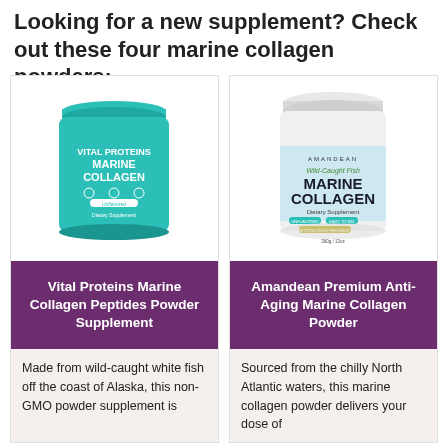Looking for a new supplement? Check out these four marine collagen powders:
[Figure (photo): Vital Proteins Marine Collagen teal/turquoise canister]
Vital Proteins Marine Collagen Peptides Powder Supplement
Made from wild-caught white fish off the coast of Alaska, this non-GMO powder supplement is
[Figure (photo): Amandean Wild-Caught Fish Marine Collagen white canister with light blue label]
Amandean Premium Anti-Aging Marine Collagen Powder
Sourced from the chilly North Atlantic waters, this marine collagen powder delivers your dose of